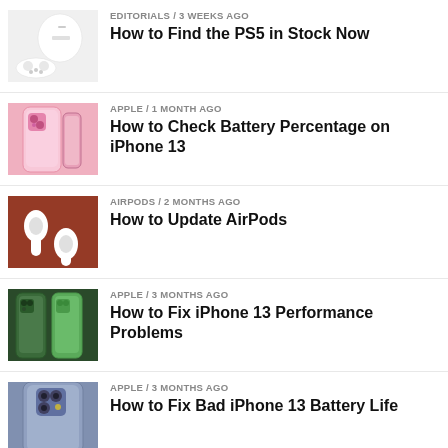[Figure (photo): PS5 console and controller on white background]
EDITORIALS / 3 weeks ago
How to Find the PS5 in Stock Now
[Figure (photo): Pink iPhone 13 showing back and camera]
APPLE / 1 month ago
How to Check Battery Percentage on iPhone 13
[Figure (photo): AirPods on a wooden surface]
AIRPODS / 2 months ago
How to Update AirPods
[Figure (photo): Green iPhone 13 Pro showing back and sides]
APPLE / 3 months ago
How to Fix iPhone 13 Performance Problems
[Figure (photo): iPhone 13 top with camera showing]
APPLE / 3 months ago
How to Fix Bad iPhone 13 Battery Life